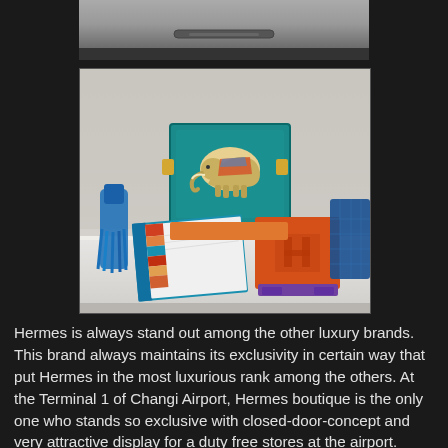[Figure (photo): Partial top photo showing what appears to be a dark interior surface or counter edge, cropped at top of page]
[Figure (photo): Hermes boutique display showing colorful luxury goods: a teal/turquoise decorative tray with elephant motif, an orange Hermes box/stand with purple accent, a teal notepad/book, and other decorative items on a white display counter]
Hermes is always stand out among the other luxury brands. This brand always maintains its exclusivity in certain way that put Hermes in the most luxurious rank among the others. At the Terminal 1 of Changi Airport, Hermes boutique is the only one who stands so exclusive with closed-door-concept and very attractive display for a duty free stores at the airport.